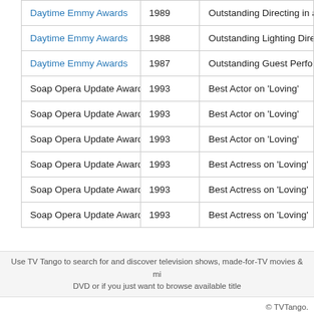| Award | Year | Category |
| --- | --- | --- |
| Daytime Emmy Awards | 1989 | Outstanding Directing in a... |
| Daytime Emmy Awards | 1988 | Outstanding Lighting Dire... |
| Daytime Emmy Awards | 1987 | Outstanding Guest Perfo... |
| Soap Opera Update Award | 1993 | Best Actor on 'Loving' |
| Soap Opera Update Award | 1993 | Best Actor on 'Loving' |
| Soap Opera Update Award | 1993 | Best Actor on 'Loving' |
| Soap Opera Update Award | 1993 | Best Actress on 'Loving' |
| Soap Opera Update Award | 1993 | Best Actress on 'Loving' |
| Soap Opera Update Award | 1993 | Best Actress on 'Loving' |
Home | Terms of Service | A...
Use TV Tango to search for and discover television shows, made-for-TV movies & mi... DVD or if you just want to browse available title...
© TVTango.